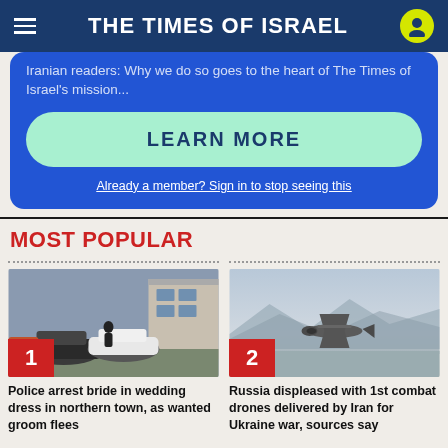THE TIMES OF ISRAEL
Iranian readers: Why we do so goes to the heart of The Times of Israel's mission...
LEARN MORE
Already a member? Sign in to stop seeing this
MOST POPULAR
[Figure (photo): Flooded area with cars in a northern town, police arresting bride in wedding dress]
Police arrest bride in wedding dress in northern town, as wanted groom flees
[Figure (photo): Military combat drone in flight over hazy sky]
Russia displeased with 1st combat drones delivered by Iran for Ukraine war, sources say